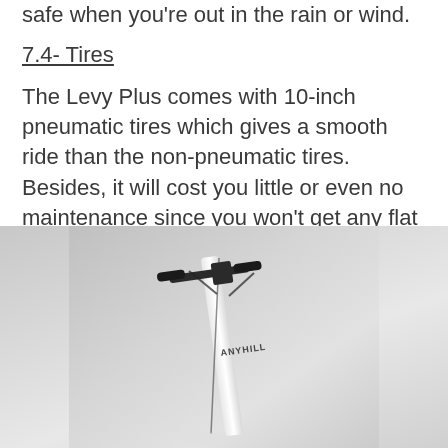safe when you're out in the rain or wind.
7.4- Tires
The Levy Plus comes with 10-inch pneumatic tires which gives a smooth ride than the non-pneumatic tires. Besides, it will cost you little or even no maintenance since you won't get any flat tires.
[Figure (photo): Photo of an Anyhill electric scooter standing upright against a gray gradient background, showing the handlebar and stem with ANYHILL branding visible on the stem.]